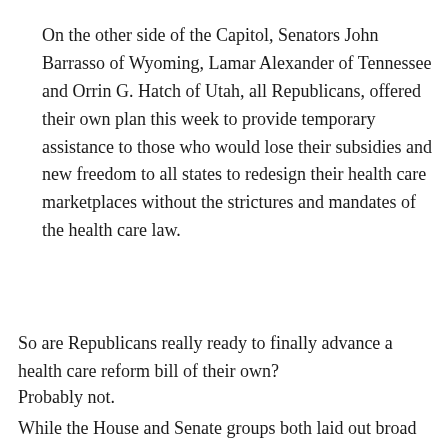On the other side of the Capitol, Senators John Barrasso of Wyoming, Lamar Alexander of Tennessee and Orrin G. Hatch of Utah, all Republicans, offered their own plan this week to provide temporary assistance to those who would lose their subsidies and new freedom to all states to redesign their health care marketplaces without the strictures and mandates of the health care law.
So are Republicans really ready to finally advance a health care reform bill of their own?
Probably not.
While the House and Senate groups both laid out broad visions for new health care laws, neither offered any sort of details on how their plans would actually work. Saying